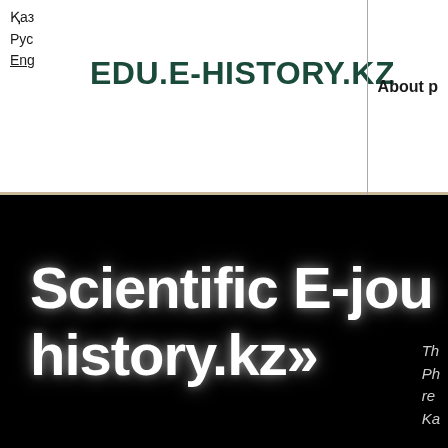Қаз Рус Eng  EDU.E-HISTORY.KZ  About p
Scientific E-jou history.kz»
Th Ph re Ka